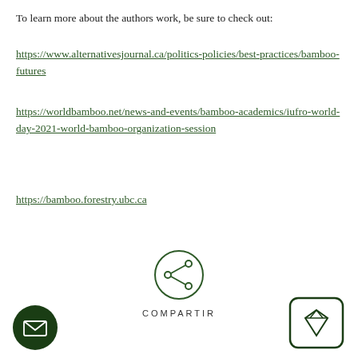To learn more about the authors work, be sure to check out:
https://www.alternativesjournal.ca/politics-policies/best-practices/bamboo-futures
https://worldbamboo.net/news-and-events/bamboo-academics/iufro-world-day-2021-world-bamboo-organization-session
https://bamboo.forestry.ubc.ca
[Figure (illustration): Share button icon: a circle with a share/network icon (three dots connected), labeled COMPARTIR below]
[Figure (illustration): Email button: dark green circle with white envelope icon]
[Figure (illustration): Diamond/gem button: rounded rectangle with diamond gem icon in dark green]